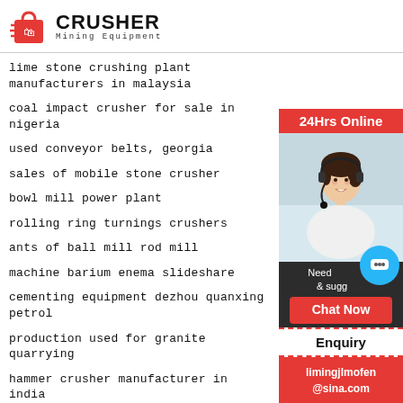[Figure (logo): Crusher Mining Equipment logo with red shopping bag icon and bold CRUSHER text]
lime stone crushing plant manufacturers in malaysia
coal impact crusher for sale in nigeria
used conveyor belts, georgia
sales of mobile stone crusher
bowl mill power plant
rolling ring turnings crushers
ants of ball mill rod mill
machine barium enema slideshare
cementing equipment dezhou quanxing petrol
production used for granite quarrying
hammer crusher manufacturer in india
rock crusher equipment plants
[Figure (infographic): 24Hrs Online sidebar with woman in headset, chat now button, enquiry section, and limingjlmofen@sina.com email]